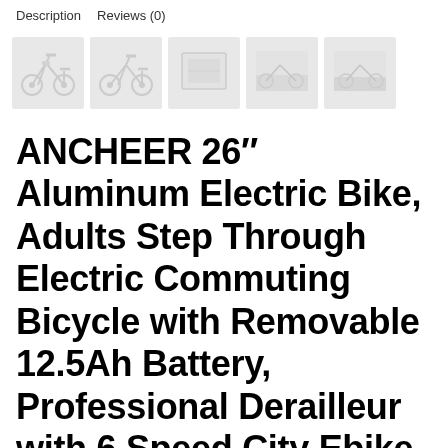Description   Reviews (0)
[Figure (photo): Row of five product thumbnail images of the electric bike from different angles]
ANCHEER 26″ Aluminum Electric Bike, Adults Step Through Electric Commuting Bicycle with Removable 12.5Ah Battery, Professional Derailleur with 6 Speed City Ebike
$679.99
BUY NOW